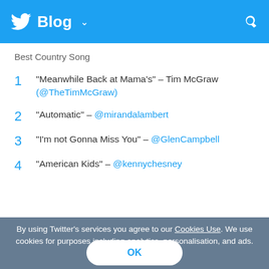Blog
Best Country Song
"Meanwhile Back at Mama's" – Tim McGraw (@TheTimMcGraw)
"Automatic" – @mirandalambert
"I'm not Gonna Miss You" – @GlenCampbell
"American Kids" – @kennychesney
By using Twitter's services you agree to our Cookies Use. We use cookies for purposes including analytics, personalisation, and ads. OK